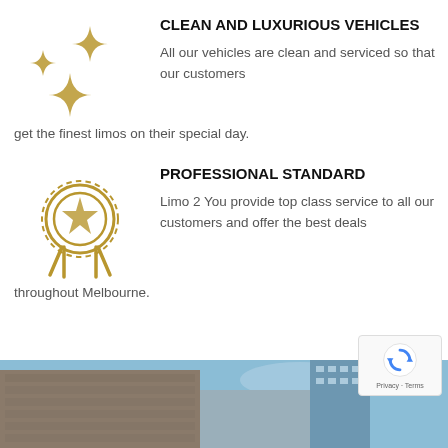[Figure (illustration): Gold sparkle/star decorative icon]
CLEAN AND LUXURIOUS VEHICLES
All our vehicles are clean and serviced so that our customers get the finest limos on their special day.
[Figure (illustration): Gold award/medal ribbon icon]
PROFESSIONAL STANDARD
Limo 2 You provide top class service to all our customers and offer the best deals throughout Melbourne.
[Figure (photo): City buildings and skyline photo, Melbourne]